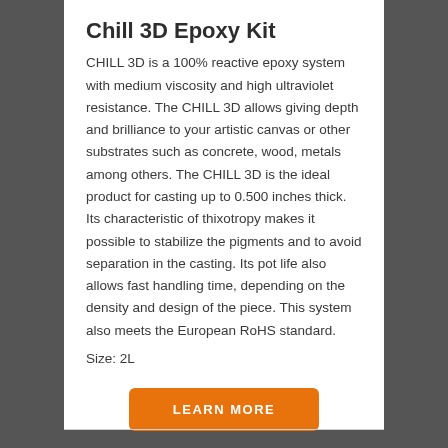Chill 3D Epoxy Kit
CHILL 3D is a 100% reactive epoxy system with medium viscosity and high ultraviolet resistance. The CHILL 3D allows giving depth and brilliance to your artistic canvas or other substrates such as concrete, wood, metals among others. The CHILL 3D is the ideal product for casting up to 0.500 inches thick. Its characteristic of thixotropy makes it possible to stabilize the pigments and to avoid separation in the casting. Its pot life also allows fast handling time, depending on the density and design of the piece. This system also meets the European RoHS standard.
Size: 2L
LEARN MORE